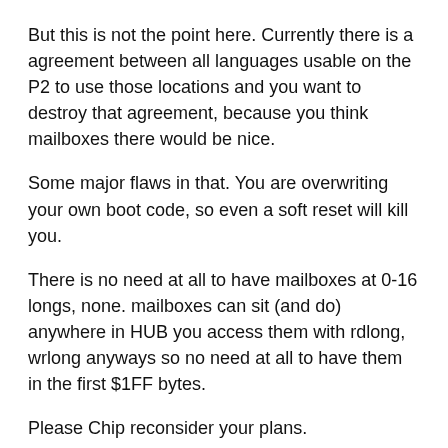But this is not the point here. Currently there is a agreement between all languages usable on the P2 to use those locations and you want to destroy that agreement, because you think mailboxes there would be nice.
Some major flaws in that. You are overwriting your own boot code, so even a soft reset will kill you.
There is no need at all to have mailboxes at 0-16 longs, none. mailboxes can sit (and do) anywhere in HUB you access them with rdlong, wrlong anyways so no need at all to have them in the first $1FF bytes.
Please Chip reconsider your plans.
What you are currently planning is to destroy all work others have done to gain WHAT exactly?
Mailboxes for 16 COGs we do not even have?